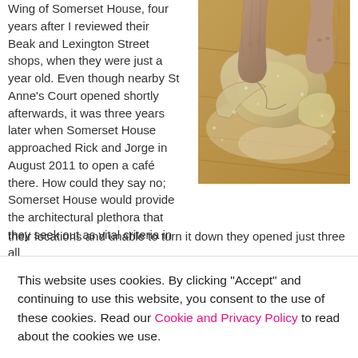Wing of Somerset House, four years after I reviewed their Beak and Lexington Street shops, when they were just a year old. Even though nearby St Anne's Court opened shortly afterwards, it was three years later when Somerset House approached Rick and Jorge in August 2011 to open a café there. How could they say no; Somerset House would provide the architectural plethora that they seek out as vital criteria in all their locations and unable to turn it down they opened just three
[Figure (photo): Close-up photo of hands working with flour-dusted bread dough on a wooden surface, cutting or shaping pieces of dough.]
This website uses cookies. By clicking "Accept" and continuing to use this website, you consent to the use of these cookies. Read our Cookie and Privacy Policy to read about the cookies we use.